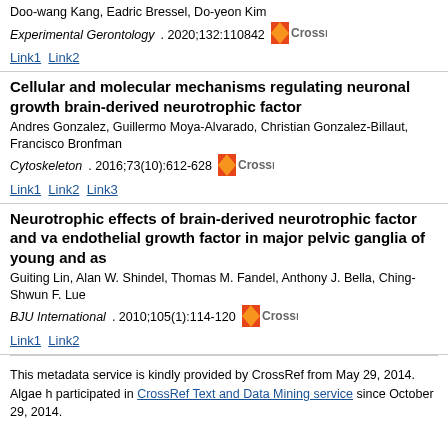Doo-wang Kang, Eadric Bressel, Do-yeon Kim
Experimental Gerontology. 2020;132:110842
Link1 Link2
Cellular and molecular mechanisms regulating neuronal growth brain-derived neurotrophic factor
Andres Gonzalez, Guillermo Moya-Alvarado, Christian Gonzalez-Billaut, Francisco Bronfman
Cytoskeleton. 2016;73(10):612-628
Link1 Link2 Link3
Neurotrophic effects of brain-derived neurotrophic factor and vascular endothelial growth factor in major pelvic ganglia of young and aged
Guiting Lin, Alan W. Shindel, Thomas M. Fandel, Anthony J. Bella, Ching-Shwun F. Lue
BJU International. 2010;105(1):114-120
Link1 Link2
This metadata service is kindly provided by CrossRef from May 29, 2014. Algae h participated in CrossRef Text and Data Mining service since October 29, 2014.